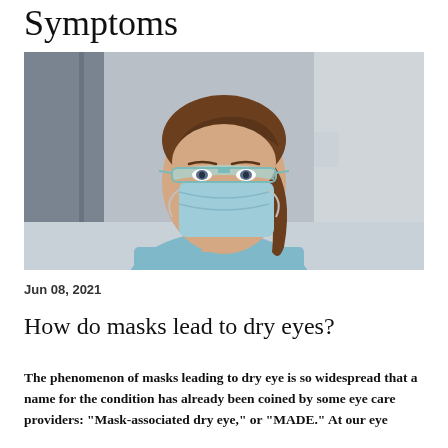Symptoms
[Figure (photo): Healthcare worker wearing a surgical mask and protective eyewear/safety glasses, looking over shoulder at camera, wearing light blue scrubs, in a clinical setting]
Jun 08, 2021
How do masks lead to dry eyes?
The phenomenon of masks leading to dry eye is so widespread that a name for the condition has already been coined by some eye care providers: “Mask-associated dry eye,” or “MADE.” At our eye